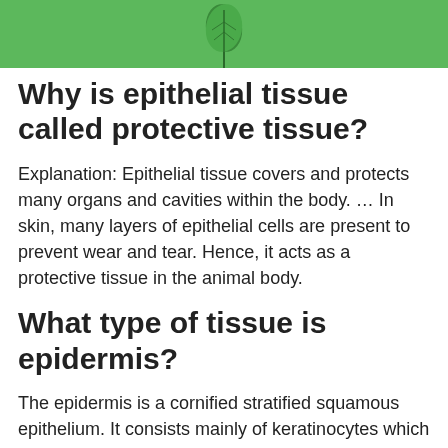[Figure (illustration): Green banner header with a green leaf or plant icon centered at the bottom of the banner.]
Why is epithelial tissue called protective tissue?
Explanation: Epithelial tissue covers and protects many organs and cavities within the body. … In skin, many layers of epithelial cells are present to prevent wear and tear. Hence, it acts as a protective tissue in the animal body.
What type of tissue is epidermis?
The epidermis is a cornified stratified squamous epithelium. It consists mainly of keratinocytes which multiply in the basal